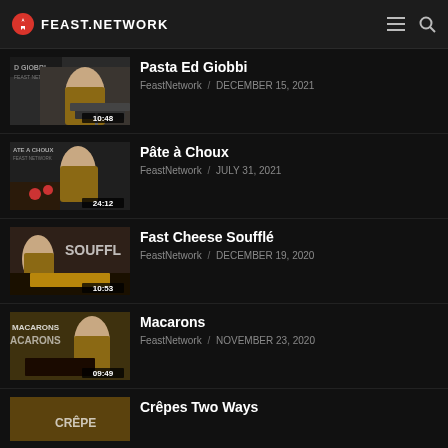FEAST.NETWORK
[Figure (screenshot): Video thumbnail for Pasta Ed Giobbi, man in apron cooking, 10:48 duration]
Pasta Ed Giobbi
FeastNetwork / DECEMBER 15, 2021
[Figure (screenshot): Video thumbnail for Pate a Choux, man in apron, PATE A CHOUX title visible, 24:12 duration]
Pâte à Choux
FeastNetwork / JULY 31, 2021
[Figure (screenshot): Video thumbnail for Fast Cheese Souffle, SOUFFL text visible, man in apron, 10:53 duration]
Fast Cheese Soufflé
FeastNetwork / DECEMBER 19, 2020
[Figure (screenshot): Video thumbnail for Macarons, MACARONS text visible, man in apron, 09:49 duration]
Macarons
FeastNetwork / NOVEMBER 23, 2020
[Figure (screenshot): Video thumbnail for Crepes Two Ways, CREPE text partially visible]
Crêpes Two Ways